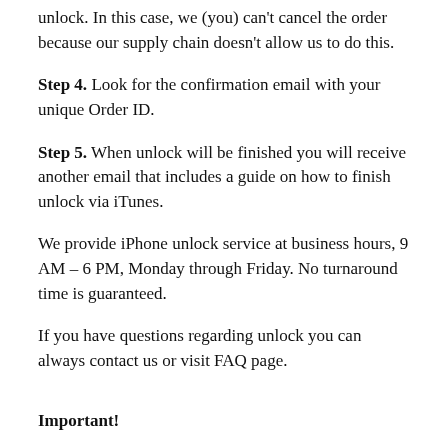unlock. In this case, we (you) can't cancel the order because our supply chain doesn't allow us to do this.
Step 4. Look for the confirmation email with your unique Order ID.
Step 5. When unlock will be finished you will receive another email that includes a guide on how to finish unlock via iTunes.
We provide iPhone unlock service at business hours, 9 AM – 6 PM, Monday through Friday. No turnaround time is guaranteed.
If you have questions regarding unlock you can always contact us or visit FAQ page.
Important!